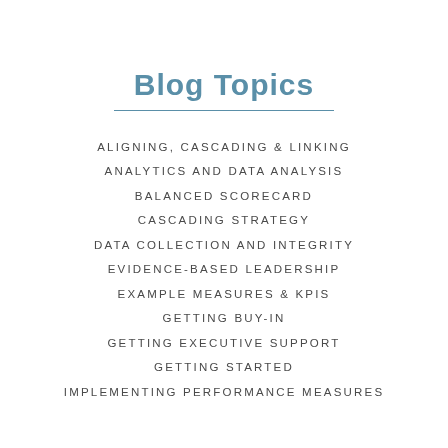Blog Topics
ALIGNING, CASCADING & LINKING
ANALYTICS AND DATA ANALYSIS
BALANCED SCORECARD
CASCADING STRATEGY
DATA COLLECTION AND INTEGRITY
EVIDENCE-BASED LEADERSHIP
EXAMPLE MEASURES & KPIS
GETTING BUY-IN
GETTING EXECUTIVE SUPPORT
GETTING STARTED
IMPLEMENTING PERFORMANCE MEASURES